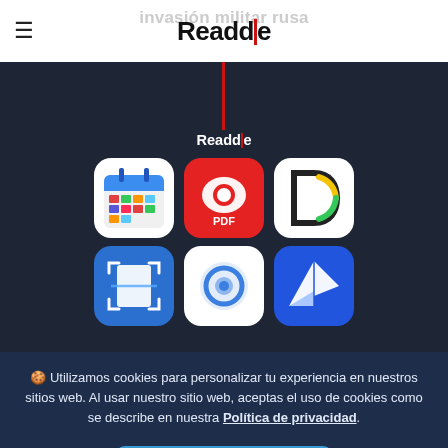Readdle
[Figure (screenshot): Readdle website showing 6 app icons: Fantastical/Calendar, PDF Expert, Dash, Scanner Pro, Readdle circle, Direct Mail on dark background]
🍪 Utilizamos cookies para personalizar tu experiencia en nuestros sitios web. Al usar nuestro sitio web, aceptas el uso de cookies como se describe en nuestra Política de privacidad.
OK